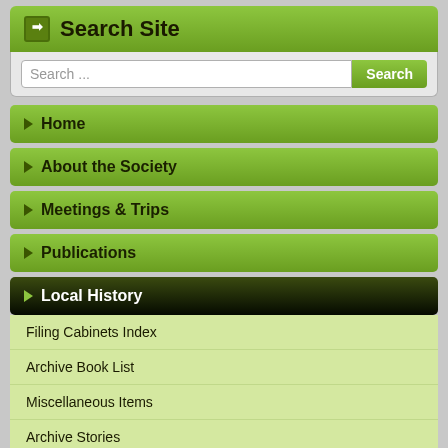Search Site
Search ...
Home
About the Society
Meetings & Trips
Publications
Local History
Filing Cabinets Index
Archive Book List
Miscellaneous Items
Archive Stories
Stories of People
Stories of Places
Memories of Local People
Postcards
Videos